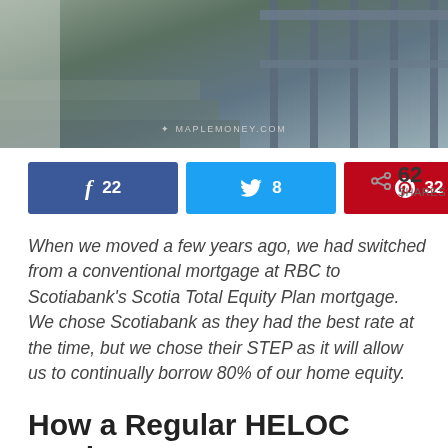[Figure (photo): Outdoor staircase with grey railing and stone steps, watermarked with MAPLEMONEY.COM]
f 22  [twitter] 8  [pinterest] 32  < 62 SHARES
When we moved a few years ago, we had switched from a conventional mortgage at RBC to Scotiabank's Scotia Total Equity Plan mortgage. We chose Scotiabank as they had the best rate at the time, but we chose their STEP as it will allow us to continually borrow 80% of our home equity.
How a Regular HELOC Works